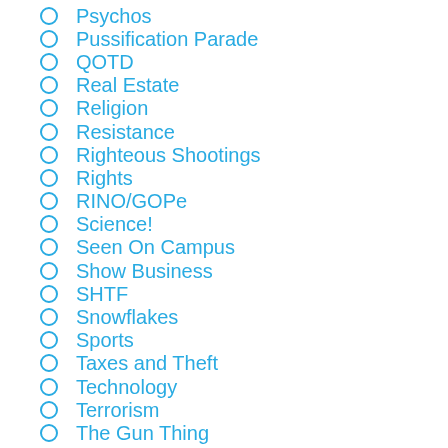Psychos
Pussification Parade
QOTD
Real Estate
Religion
Resistance
Righteous Shootings
Rights
RINO/GOPe
Science!
Seen On Campus
Show Business
SHTF
Snowflakes
Sports
Taxes and Theft
Technology
Terrorism
The Gun Thing